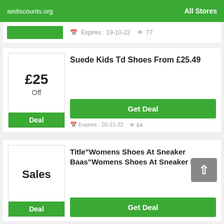aediscounts.org  All Stores
Expires: 19-10-22  77
Suede Kids Td Shoes From £25.49
£25 Off
Deal
Get Deal
Expires: 20-11-22  64
Title"Womens Shoes At Sneaker Baas"Womens Shoes At Sneaker Baas
Sales
Deal
Get Deal